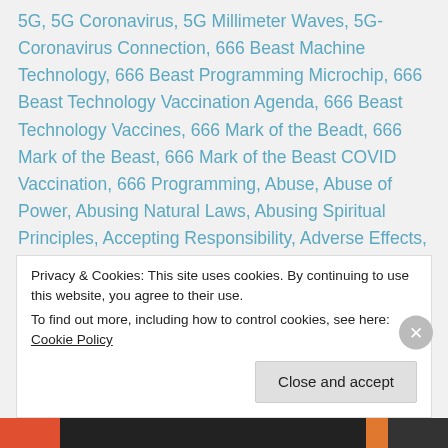5G, 5G Coronavirus, 5G Millimeter Waves, 5G-Coronavirus Connection, 666 Beast Machine Technology, 666 Beast Programming Microchip, 666 Beast Technology Vaccination Agenda, 666 Beast Technology Vaccines, 666 Mark of the Beadt, 666 Mark of the Beast, 666 Mark of the Beast COVID Vaccination, 666 Programming, Abuse, Abuse of Power, Abusing Natural Laws, Abusing Spiritual Principles, Accepting Responsibility, Adverse Effects, Adverse Reactions, Agenda 2030, Agenda 21, Agendas, Agents of Chaos, Agorism, AI, AI (Artificial Intelligence), AI Agenda, AI Control Matrix, AI Cube Technology, AI Implants, AI Mark of the Beast Technology, AI Matrix, AI Microchip Vaccinations, AI Mind Control Matrix, AI
Privacy & Cookies: This site uses cookies. By continuing to use this website, you agree to their use.
To find out more, including how to control cookies, see here: Cookie Policy
Close and accept